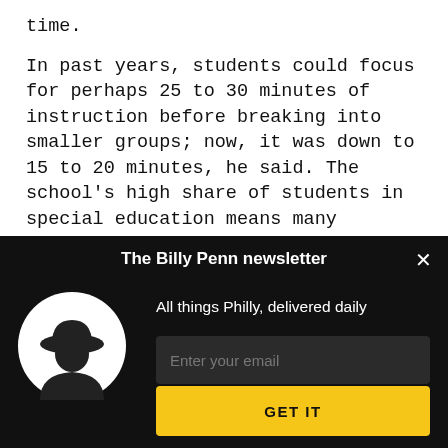time.
In past years, students could focus for perhaps 25 to 30 minutes of instruction before breaking into smaller groups; now, it was down to 15 to 20 minutes, he said. The school's high share of students in special education means many students required aides or extra support for disabilities in reading, math and behavior but didn't necessarily receive it. Even in easier times, it was difficult to manage a classroom of 33 kids at different levels, with
[Figure (screenshot): Billy Penn newsletter signup modal with black background, avatar circle with silhouette, email input field, and GET IT button in yellow.]